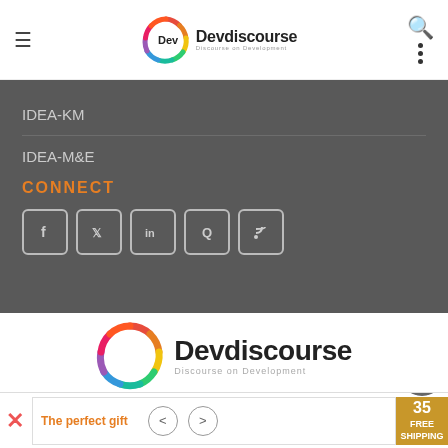[Figure (logo): Devdiscourse logo with colorful circular icon and text 'Devdiscourse - Discourse on Development']
IDEA-KM
IDEA-M&E
CONNECT
[Figure (infographic): Social media icons: Facebook, Twitter, LinkedIn, Quora, RSS feed]
[Figure (logo): Large Devdiscourse logo centered on white background]
Email: info@devdiscourse.com
Phone: +91-130-6444012, +91-7027739813, 14, 15
The perfect gift